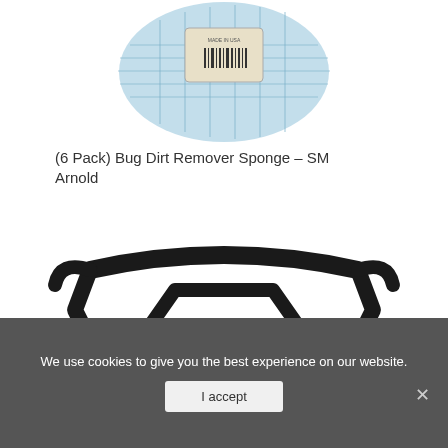[Figure (photo): Product photo of a blue mesh sponge cleaning pad (Bug Dirt Remover Sponge) with packaging label visible, partially cropped at top]
(6 Pack) Bug Dirt Remover Sponge – SM Arnold
[Figure (photo): Product photo of a black metal ATV/UTV front bumper guard with a black license plate bracket on the lower left and a small hardware bag on the lower right, partially cropped at bottom]
We use cookies to give you the best experience on our website.
I accept